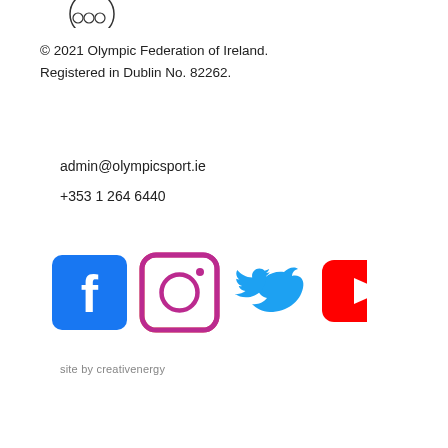[Figure (logo): Olympic Federation of Ireland logo - partial circular emblem with Olympic rings visible at top left]
© 2021 Olympic Federation of Ireland. Registered in Dublin No. 82262.
admin@olympicsport.ie
+353 1 264 6440
[Figure (illustration): Social media icons row: Facebook (blue square with white f), Instagram (white camera icon with pink/purple gradient border), Twitter (blue bird), YouTube (red rectangle with white play button)]
site by creativenergy